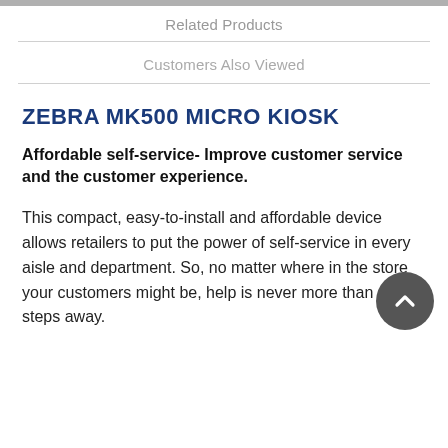Related Products
Customers Also Viewed
ZEBRA MK500 MICRO KIOSK
Affordable self-service- Improve customer service and the customer experience.
This compact, easy-to-install and affordable device allows retailers to put the power of self-service in every aisle and department. So, no matter where in the store your customers might be, help is never more than a few steps away.